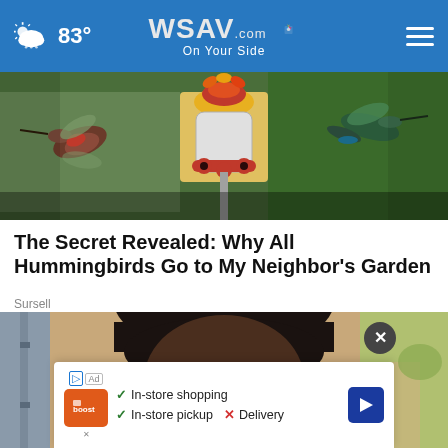83° WSAV.com On Your Side
[Figure (photo): Hummingbirds at a red bird feeder with colorful flowers]
The Secret Revealed: Why All Hummingbirds Go to My Neighbor's Garden
Sursell
[Figure (photo): Person wearing sunglasses and a dark hat, with a pink flower near face]
In-store shopping  In-store pickup  Delivery (ad overlay)